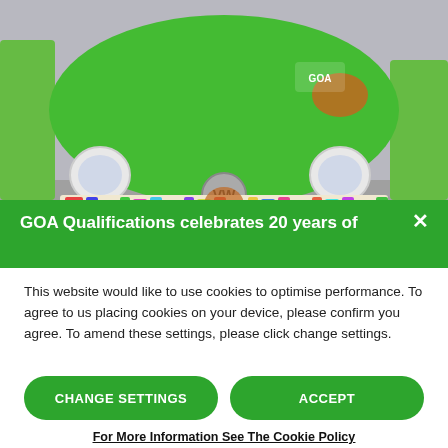[Figure (photo): Front view of a Volkswagen Beetle car painted bright green, covered with colorful stickers on the lower body. License plate reads YF02 VUS. The car is photographed indoors. A green banner overlay at the bottom reads 'GOA Qualifications celebrates 20 years of' with a white X close button.]
This website would like to use cookies to optimise performance. To agree to us placing cookies on your device, please confirm you agree. To amend these settings, please click change settings.
CHANGE SETTINGS
ACCEPT
For More Information See The Cookie Policy